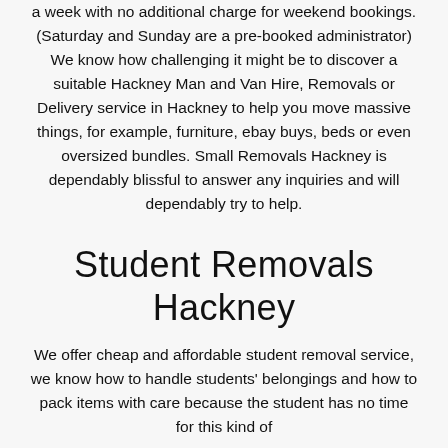a week with no additional charge for weekend bookings. (Saturday and Sunday are a pre-booked administrator) We know how challenging it might be to discover a suitable Hackney Man and Van Hire, Removals or Delivery service in Hackney to help you move massive things, for example, furniture, ebay buys, beds or even oversized bundles. Small Removals Hackney is dependably blissful to answer any inquiries and will dependably try to help.
Student Removals Hackney
We offer cheap and affordable student removal service, we know how to handle students' belongings and how to pack items with care because the student has no time for this kind of